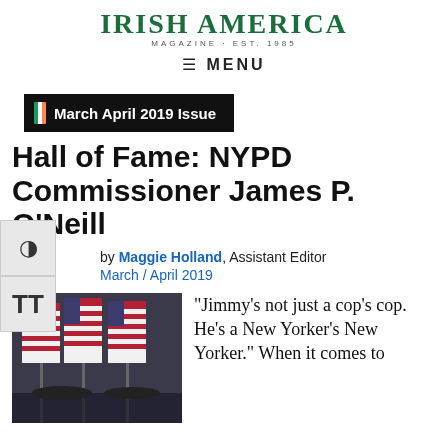IRISH AMERICA MAGAZINE · EST. 1985
≡ MENU
March April 2019 Issue
Hall of Fame: NYPD Commissioner James P. O'Neill
by Maggie Holland, Assistant Editor
March / April 2019
[Figure (photo): Photo of American flags with uniformed officers in background]
“Jimmy’s not just a cop’s cop. He’s a New Yorker’s New Yorker.” When it comes to